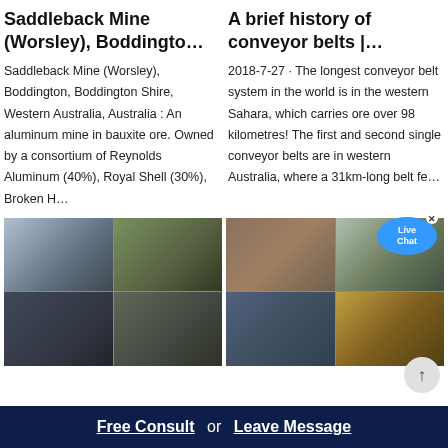Saddleback Mine (Worsley), Boddingto…
A brief history of conveyor belts |…
Saddleback Mine (Worsley), Boddington, Boddington Shire, Western Australia, Australia : An aluminum mine in bauxite ore. Owned by a consortium of Reynolds Aluminum (40%), Royal Shell (30%), Broken H…
2018-7-27 · The longest conveyor belt system in the world is in the western Sahara, which carries ore over 98 kilometres! The first and second single conveyor belts are in western Australia, where a 31km-long belt fe…
[Figure (photo): Industrial mining equipment and machinery, four-image collage]
[Figure (photo): Industrial crushing and processing equipment, four-image collage]
Free Consult  or  Leave Message